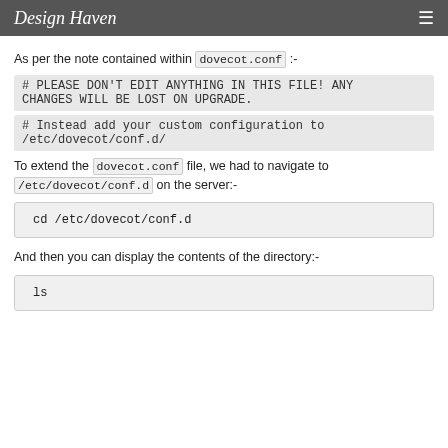Design Haven
As per the note contained within dovecot.conf :-
# PLEASE DON'T EDIT ANYTHING IN THIS FILE! ANY CHANGES WILL BE LOST ON UPGRADE.
# Instead add your custom configuration to /etc/dovecot/conf.d/
To extend the dovecot.conf file, we had to navigate to /etc/dovecot/conf.d on the server:-
cd /etc/dovecot/conf.d
And then you can display the contents of the directory:-
ls